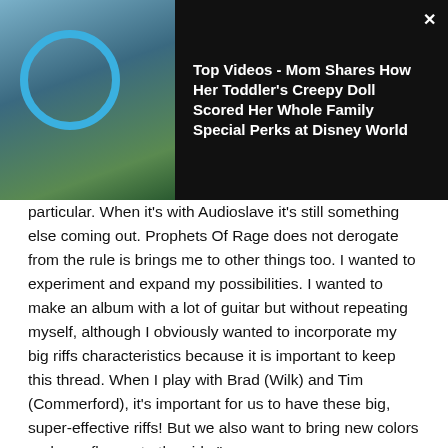[Figure (photo): Advertisement banner: photo of a girl in Disney Minnie Mouse ears with a doll, dark background, with text overlay.]
Top Videos - Mom Shares How Her Toddler's Creepy Doll Scored Her Whole Family Special Perks at Disney World
particular. When it's with Audioslave it's still something else coming out. Prophets Of Rage does not derogate from the rule is brings me to other things too. I wanted to experiment and expand my possibilities. I wanted to make an album with a lot of guitar but without repeating myself, although I obviously wanted to incorporate my big riffs characteristics because it is important to keep this thread. When I play with Brad (Wilk) and Tim (Commerford), it's important for us to have these big, super-effective riffs! But we also want to bring new colors and new flavors to the side."
He also discussed the 'Soul Power' guitar he uses to pay tribute to Chris Cornell with at Prophets of Rage shows when